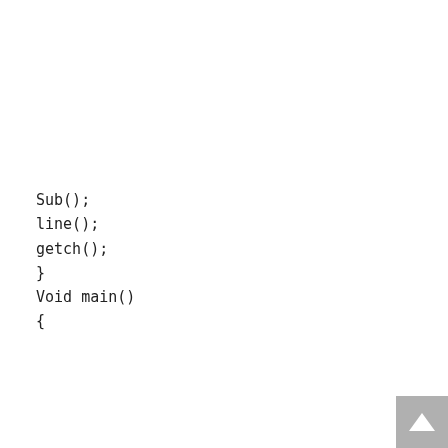Sub();
line();
getch();
}
Void main()
{